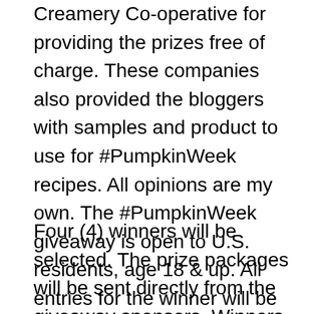Creamery Co-operative for providing the prizes free of charge. These companies also provided the bloggers with samples and product to use for #PumpkinWeek recipes. All opinions are my own. The #PumpkinWeek giveaway is open to U.S. residents, age 18 & up. All entries for the winner will be checked and verified. By entering you give the right to use your name and likeness. The number of entries received determines the odds of winning.
Four (4) winners will be selected. The prize packages will be sent directly from the giveaway sponsors. Winners have 48 hours to respond once chosen, or they forfeit the prize and alternate